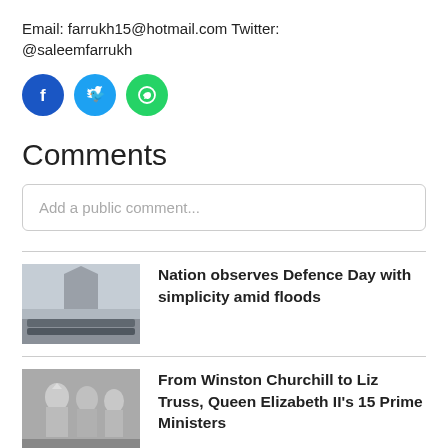Email: farrukh15@hotmail.com Twitter: @saleemfarrukh
[Figure (infographic): Three social media icon circles: Facebook (blue), Twitter (cyan), WhatsApp (green)]
Comments
Add a public comment...
[Figure (photo): Pakistan military personnel in formation at a national monument (Defence Day ceremony)]
Nation observes Defence Day with simplicity amid floods
[Figure (photo): Black and white photo of Queen Elizabeth II with Winston Churchill and others]
From Winston Churchill to Liz Truss, Queen Elizabeth II's 15 Prime Ministers